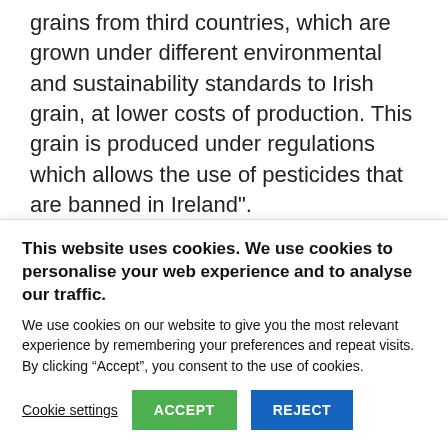grains from third countries, which are grown under different environmental and sustainability standards to Irish grain, at lower costs of production. This grain is produced under regulations which allows the use of pesticides that are banned in Ireland".
According to CSO figures, Irish imports of
This website uses cookies. We use cookies to personalise your web experience and to analyse our traffic.
We use cookies on our website to give you the most relevant experience by remembering your preferences and repeat visits. By clicking “Accept”, you consent to the use of cookies.
Cookie settings   ACCEPT   REJECT